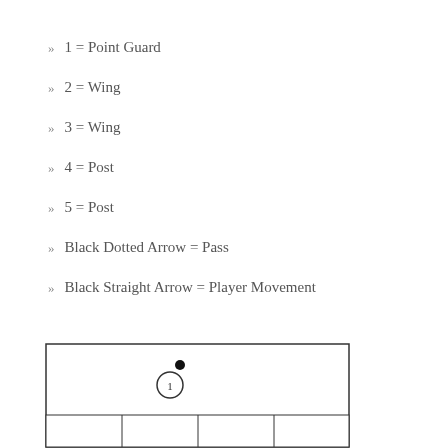1 = Point Guard
2 = Wing
3 = Wing
4 = Post
5 = Post
Black Dotted Arrow = Pass
Black Straight Arrow = Player Movement
[Figure (illustration): Basketball court diagram showing player 1 (Point Guard) near center with a ball marker above, and a lane/key area below with grid lines representing the paint.]